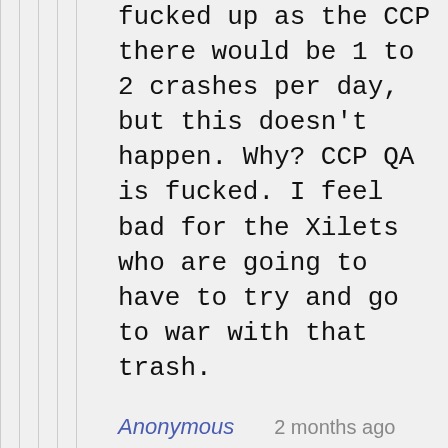fucked up as the CCP there would be 1 to 2 crashes per day, but this doesn't happen. Why? CCP QA is fucked. I feel bad for the Xilets who are going to have to try and go to war with that trash.
Anonymous   2 months ago
wow, you so smart. lol
Anonymous   2 months ago
[Figure (illustration): Pixel art question mark block, orange/yellow square with a red question mark, resembling a Mario video game block]